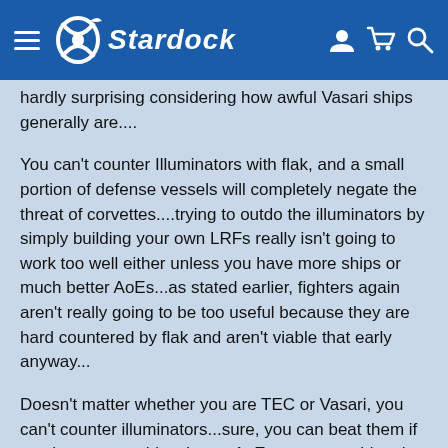Stardock
hardly surprising considering how awful Vasari ships generally are....
You can't counter Illuminators with flak, and a small portion of defense vessels will completely negate the threat of corvettes....trying to outdo the illuminators by simply building your own LRFs really isn't going to work too well either unless you have more ships or much better AoEs...as stated earlier, fighters again aren't really going to be too useful because they are hard countered by flak and aren't viable that early anyway...
Doesn't matter whether you are TEC or Vasari, you can't counter illuminators...sure, you can beat them if you have more ships, better AoEs, or are pushing the